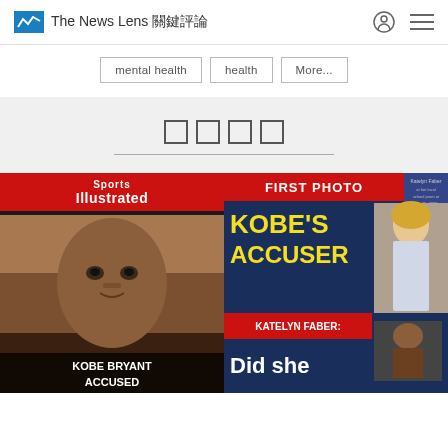The News Lens 關鍵評論
mental health
health
More...
□□□□
[Figure (photo): Two magazine covers side by side: left is Sports Illustrated with Kobe Bryant's mugshot headlined 'KOBE BRYANT ACCUSED'; right is a tabloid cover with headline 'FIRST PHOTO KOBE'S ACCUSER KATELYN FABER: Did she...' with a photo of a blonde woman]